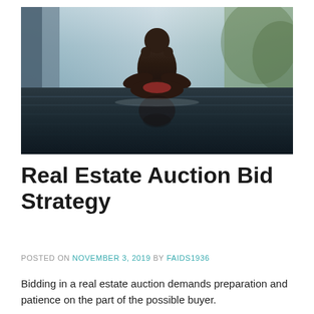[Figure (photo): Person sitting in lotus meditation pose on a reflective wet surface, shirtless, with a blurred architectural background featuring tall windows and greenery.]
Real Estate Auction Bid Strategy
POSTED ON NOVEMBER 3, 2019 BY FAIDS1936
Bidding in a real estate auction demands preparation and patience on the part of the possible buyer.